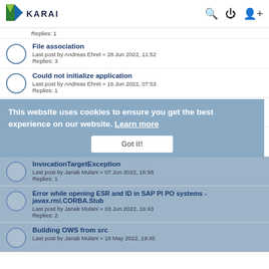KARAI
Replies: 1
File association
Last post by Andreas Ehret « 28 Jun 2022, 11:52
Replies: 3
Could not initialize application
Last post by Andreas Ehret « 16 Jun 2022, 07:53
Replies: 1
Start JNLP on different Server
Last post by Janak Mulani « 15 Jun 2022, 10:33
Replies: 1
error generating xml files
Last post by Janak Mulani « 07 Jun 2022, 17:48
Replies: 5
InvocationTargetException
Last post by Janak Mulani « 07 Jun 2022, 16:58
Replies: 1
Error while opening ESR and ID in SAP PI PO systems - javax.rmi.CORBA.Stub
Last post by Janak Mulani « 03 Jun 2022, 16:43
Replies: 2
Building OWS from src
Last post by Janak Mulani « 18 May 2022, 19:45
This website uses cookies to ensure you get the best experience on our website. Learn more
Got it!